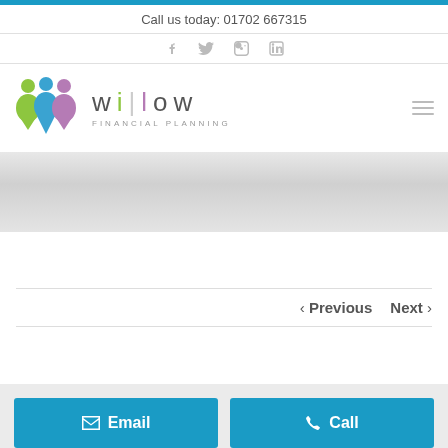Call us today: 01702 667315
[Figure (logo): Willow Financial Planning logo with colorful figures and stylized text]
[Figure (illustration): Gray hero/banner area]
< Previous   Next >
Email  Call